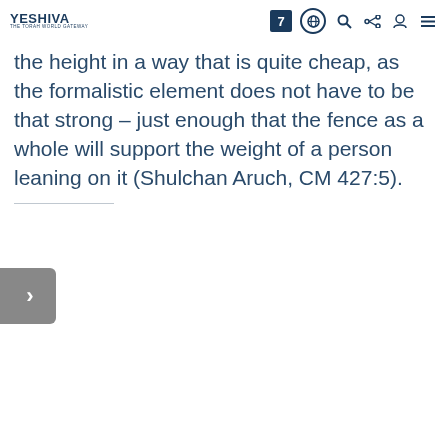YESHIVA — THE TORAH WORLD GATEWAY | 7 | globe | search | share | user | menu
the height in a way that is quite cheap, as the formalistic element does not have to be that strong – just enough that the fence as a whole will support the weight of a person leaning on it (Shulchan Aruch, CM 427:5).